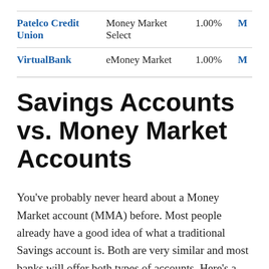| Institution | Account | Rate |  |
| --- | --- | --- | --- |
| Patelco Credit Union | Money Market Select | 1.00% | M |
| VirtualBank | eMoney Market | 1.00% | M |
Savings Accounts vs. Money Market Accounts
You've probably never heard about a Money Market account (MMA) before. Most people already have a good idea of what a traditional Savings account is. Both are very similar and most banks will offer both types of accounts. Here's a summary of key similarities and differences: